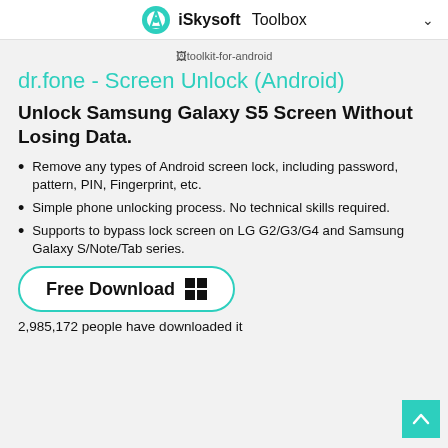iSkysoft Toolbox
[Figure (other): Broken image placeholder for toolkit-for-android]
dr.fone - Screen Unlock (Android)
Unlock Samsung Galaxy S5 Screen Without Losing Data.
Remove any types of Android screen lock, including password, pattern, PIN, Fingerprint, etc.
Simple phone unlocking process. No technical skills required.
Supports to bypass lock screen on LG G2/G3/G4 and Samsung Galaxy S/Note/Tab series.
[Figure (other): Free Download button with Windows logo icon]
2,985,172 people have downloaded it